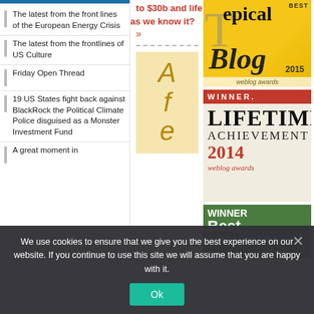The latest from the front lines of the European Energy Crisis
The latest from the frontlines of US Culture
Friday Open Thread
19 US States fight back against BlackRock the Political Climate Police disguised as a Monster Investment Fund
A great moment in
to $30b and life as we know it? »
[Figure (other): Afe advertisement block with golden/cream background]
[Figure (other): Best Topical Blog 2015 weblog awards badge - yellow background]
[Figure (other): Winner Lifetime Achievement 2014 weblog awards badge]
[Figure (other): Winner Best Australian/NZ weblog awards badge - green background]
We use cookies to ensure that we give you the best experience on our website. If you continue to use this site we will assume that you are happy with it.
Ok